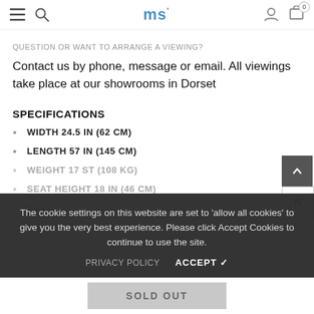ms (logo) | hamburger menu | search | user | cart (0)
QUESTION OR WANT TO ARRANGE A VIEWING?
Contact us by phone, message or email. All viewings take place at our showrooms in Dorset
SPECIFICATIONS
WIDTH 24.5 IN (62 CM)
LENGTH 57 IN (145 CM)
WEIGHT 17 ST (108 KG)
SEAT HEIGHT 18 IN (46 CM)
SEAT...
WEIGHT CAPACITY 17...
The cookie settings on this website are set to 'allow all cookies' to give you the very best experience. Please click Accept Cookies to continue to use the site.
PRIVACY POLICY    ACCEPT ✓
SOLD OUT